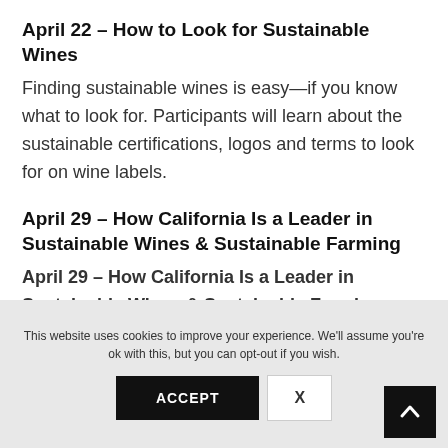April 22 – How to Look for Sustainable Wines
Finding sustainable wines is easy—if you know what to look for. Participants will learn about the sustainable certifications, logos and terms to look for on wine labels.
April 29 – How California Is a Leader in Sustainable Wines & Sustainable Farming
California is not only a world leader in sustainable winemaking and winegrowing practices, but producers also embrace sustainability in dairy and other agricultural
This website uses cookies to improve your experience. We'll assume you're ok with this, but you can opt-out if you wish.